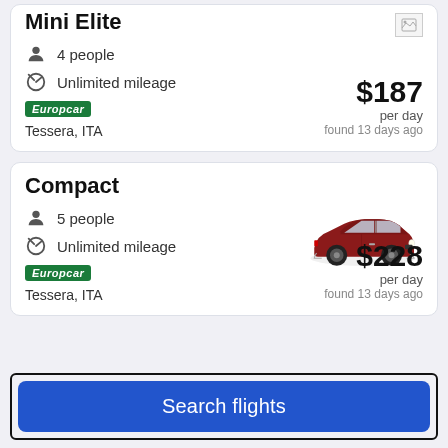Mini Elite
4 people
Unlimited mileage
[Figure (logo): Europcar green badge logo]
Tessera, ITA
$187 per day found 13 days ago
Compact
5 people
Unlimited mileage
[Figure (photo): Red compact car (Fiat 500X style)]
[Figure (logo): Europcar green badge logo]
Tessera, ITA
$228 per day found 13 days ago
Search flights